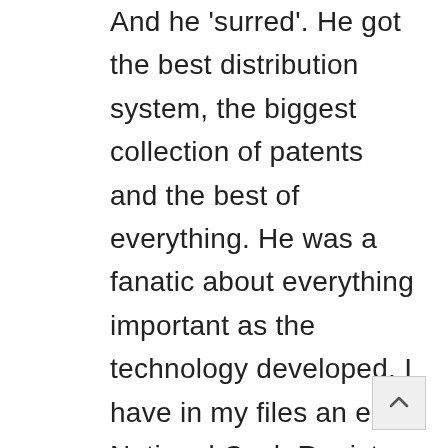And he 'surred'. He got the best distribution system, the biggest collection of patents and the best of everything. He was a fanatic about everything important as the technology developed. I have in my files an early National Cash Register Company report in which Patterson described his methods and objectives. And a well-educated orangutan could see that buying into partnership with Patterson in those early days, given his notions about the cash register business, was a total 100% cinch.